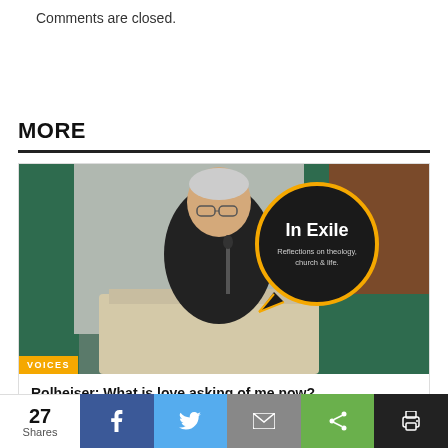Comments are closed.
MORE
[Figure (photo): A man speaking at a podium with an 'In Exile – Reflections on theology, church & life.' speech bubble graphic overlay, with a VOICES badge in the lower left.]
Rolheiser: What is love asking of me now?
June 21, 2021
27 Shares | Share buttons: Facebook, Twitter, Email, Share, Print